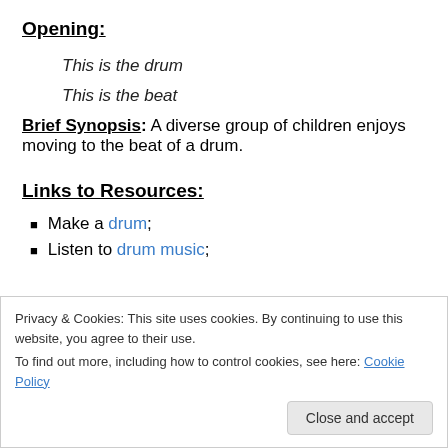Opening:
This is the drum
This is the beat
Brief Synopsis: A diverse group of children enjoys moving to the beat of a drum.
Links to Resources:
Make a drum;
Listen to drum music;
Privacy & Cookies: This site uses cookies. By continuing to use this website, you agree to their use. To find out more, including how to control cookies, see here: Cookie Policy